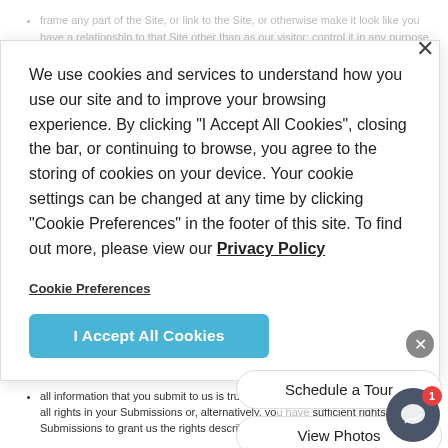frame any part of the Site, or link to the Site, or otherwise make it look like you have a relationship to that Site other than as our visitor; control it in any purpose that is not expressly permitted in writing by us; use it to collect information about any person or entity; circumvent measures employed to prevent or limit access; and area
[Figure (screenshot): Cookie consent banner overlay with text: We use cookies and services to understand how you use our site and to improve your browsing experience. By clicking "I Accept All Cookies", closing the bar, or continuing to browse, you agree to the storing of cookies on your device. Your cookie settings can be changed at any time by clicking "Cookie Preferences" in the footer of this site. To find out more, please view our Privacy Policy. Cookie Preferences link and I Accept All Cookies button.]
take any action which might impose a significant burden to (as determined by us) on the Site's infrastructure or computer systems, or otherwise interfere with the ordinary operation of the Site.
8. Representations and Warranties
You represent and warrant for the benefit of the Management Company and their licensors, ...
you are at least 18 years of age or have parental consent;
all information that you submit to us is true, accurate, and current; that you own all rights in your Submissions or, alternatively, you have sufficient rights in your Submissions to grant us the rights described in these Terms;